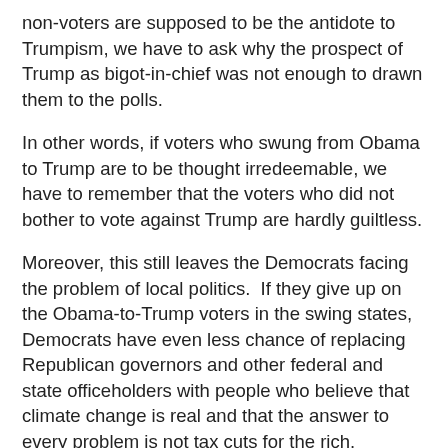non-voters are supposed to be the antidote to Trumpism, we have to ask why the prospect of Trump as bigot-in-chief was not enough to drawn them to the polls.
In other words, if voters who swung from Obama to Trump are to be thought irredeemable, we have to remember that the voters who did not bother to vote against Trump are hardly guiltless.
Moreover, this still leaves the Democrats facing the problem of local politics.  If they give up on the Obama-to-Trump voters in the swing states, Democrats have even less chance of replacing Republican governors and other federal and state officeholders with people who believe that climate change is real and that the answer to every problem is not tax cuts for the rich.  Republicans' voter suppression efforts will continue unabated.
All of which brings us back to the core question: Do Democrats have to ignore some voters' racism in order to win again?  Up to a point, yes.  There really are people who revealed themselves to be somewhere along the racism